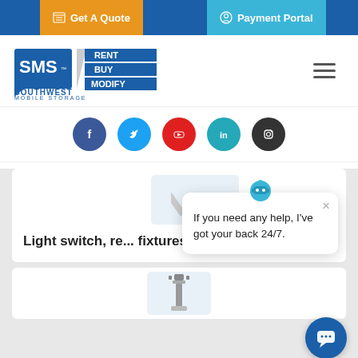Get A Quote | Payment Portal
[Figure (logo): Southwest Mobile Storage logo with SMS icon and RENT BUY MODIFY tagline]
[Figure (illustration): Social media icons: Facebook, Twitter, YouTube, LinkedIn, Instagram]
[Figure (illustration): Pencil/edit icon in light blue square]
Light switch, re... fixtures; all w...
[Figure (other): Chatbot popup with robot icon saying: If you need any help, I've got your back 24/7.]
[Figure (illustration): Cable/connector icon in light blue square]
[Figure (other): Chat button circle at bottom right]